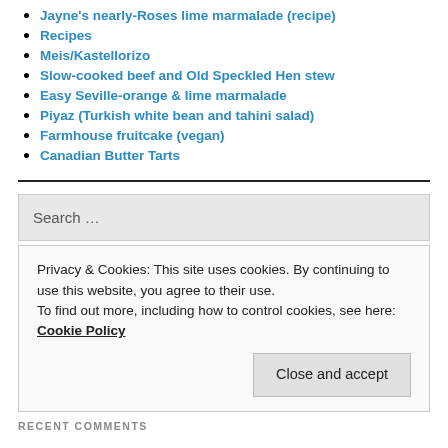Jayne's nearly-Roses lime marmalade (recipe)
Recipes
Meis/Kastellorizo
Slow-cooked beef and Old Speckled Hen stew
Easy Seville-orange & lime marmalade
Piyaz (Turkish white bean and tahini salad)
Farmhouse fruitcake (vegan)
Canadian Butter Tarts
RECENT POSTS
Privacy & Cookies: This site uses cookies. By continuing to use this website, you agree to their use. To find out more, including how to control cookies, see here: Cookie Policy